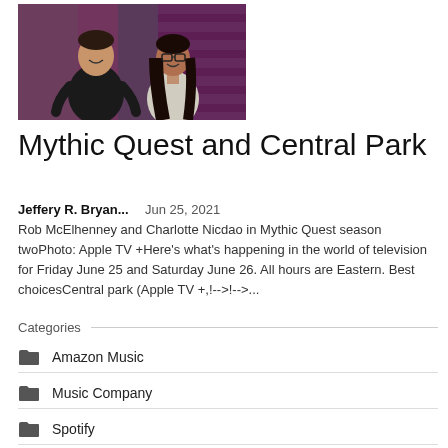[Figure (photo): Two people smiling — a man in a black top and a woman with glasses in a light sweater, in a purple-lit interior setting. Scene from Mythic Quest season two.]
Mythic Quest and Central Park
Jeffery R. Bryan...   Jun 25, 2021
Rob McElhenney and Charlotte Nicdao in Mythic Quest season twoPhoto: Apple TV +Here's what's happening in the world of television for Friday June 25 and Saturday June 26. All hours are Eastern. Best choicesCentral park (Apple TV +,!-->!-->...
Categories
Amazon Music
Music Company
Spotify